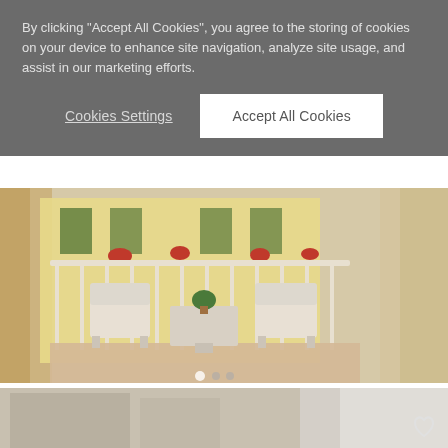By clicking “Accept All Cookies”, you agree to the storing of cookies on your device to enhance site navigation, analyze site usage, and assist in our marketing efforts.
Cookies Settings
Accept All Cookies
[Figure (photo): A balcony scene with white iron chairs and a small table, flowers and plants, looking out over a European street with yellow building in background]
NAPLES, ITALY
NILO JEWEL, LA CASA SUL NILO
Apartment | 1 accommodation
From €145 / Night | 1 night min.
[Figure (photo): Partial view of a building exterior, light curtains visible, European architecture]